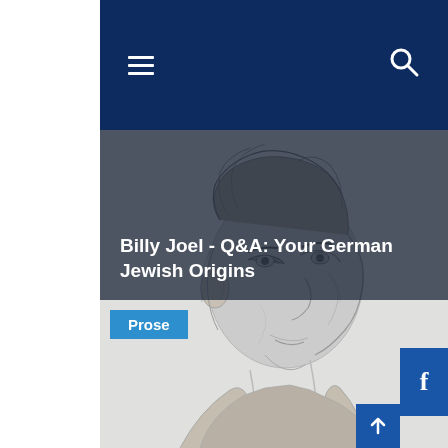Navigation bar with hamburger menu and search icon
Billy Joel - Q&A: Your German Jewish Origins
Prose
[Figure (illustration): Pencil sketch / illustration of Billy Joel, drawn from a slightly below-right angle, showing his face and upper torso in a contemplative pose, rendered in graphite on a light grey background.]